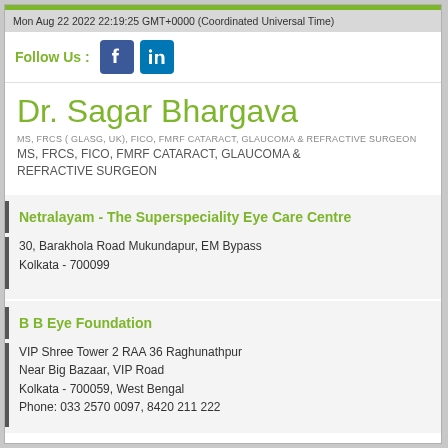Mon Aug 22 2022 22:19:25 GMT+0000 (Coordinated Universal Time)
Follow Us :
Dr. Sagar Bhargava
MS, FRCS ( GLASG, UK), FICO, FMRF CATARACT, GLAUCOMA & REFRACTIVE SURGEON MS, FRCS, FICO, FMRF CATARACT, GLAUCOMA & REFRACTIVE SURGEON
Netralayam - The Superspeciality Eye Care Centre
30, Barakhola Road Mukundapur, EM Bypass
Kolkata - 700099
B B Eye Foundation
VIP Shree Tower 2 RAA 36 Raghunathpur
Near Big Bazaar, VIP Road
Kolkata - 700059, West Bengal
Phone: 033 2570 0097, 8420 211 222